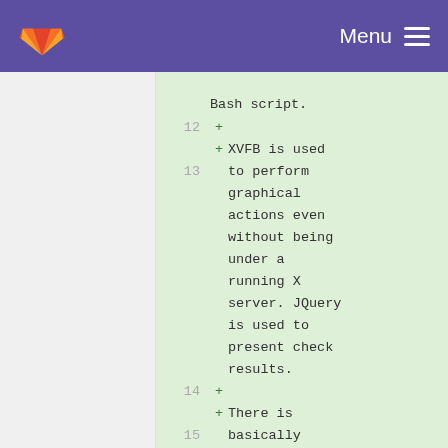GitLab — Menu
Bash script.
12 +
13 + XVFB is used to perform graphical actions even without being under a running X server. JQuery is used to present check results.
14 +
15 + There is basically three ways to use R package checker :
16 +